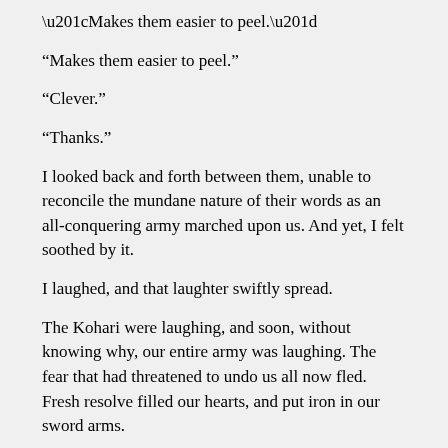“Makes them easier to peel.”
“Clever.”
“Thanks.”
I looked back and forth between them, unable to reconcile the mundane nature of their words as an all-conquering army marched upon us. And yet, I felt soothed by it.
I laughed, and that laughter swiftly spread.
The Kohari were laughing, and soon, without knowing why, our entire army was laughing. The fear that had threatened to undo us all now fled. Fresh resolve filled our hearts, and put iron in our sword arms.
The Shurimans halted two hundred yards from us. I tasted a strange texture to the air, like biting on tin. I looked up in time to see the spinning globes on the war-machines burn with searing light. The priests attending them swept their staves down.
One of the flaming spheres detached from the globe and